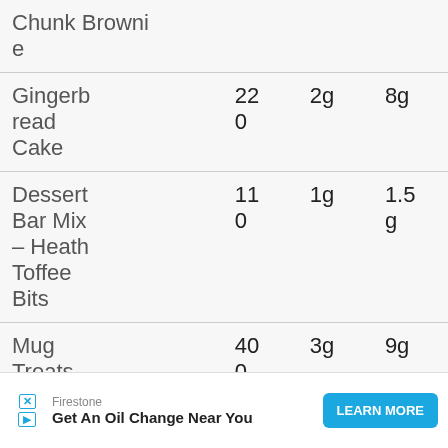| Item | Calories | Protein | Fat |
| --- | --- | --- | --- |
| Chunk Brownie |  |  |  |
| Gingerbread Cake | 220 | 2g | 8g |
| Dessert Bar Mix – Heath Toffee Bits | 110 | 1g | 1.5g |
| Mug Treats | 400 | 3g | 9g |
[Figure (infographic): Advertisement banner for Firestone oil change service with 'LEARN MORE' button]